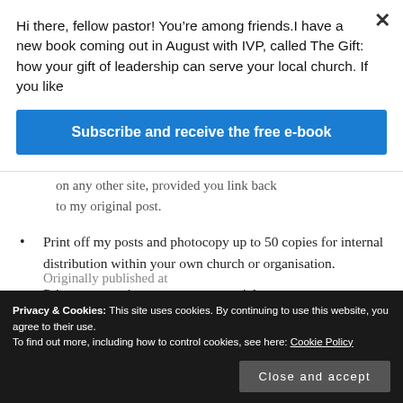Hi there, fellow pastor! You’re among friends.I have a new book coming out in August with IVP, called The Gift: how your gift of leadership can serve your local church. If you like
Subscribe and receive the free e-book
on any other site, provided you link back to my original post.
Print off my posts and photocopy up to 50 copies for internal distribution within your own church or organisation.
Print my posts in any non-commercial
Originally published at
Privacy & Cookies: This site uses cookies. By continuing to use this website, you agree to their use.
To find out more, including how to control cookies, see here: Cookie Policy
Close and accept